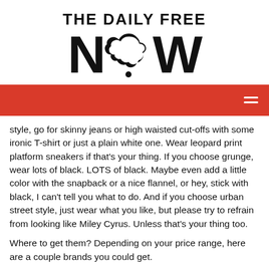[Figure (logo): THE DAILY FREE NOW logo with large bold text, 'O' in NOW replaced by a cloud/thought bubble shape with a dot beneath it]
[Figure (other): Red navigation bar with hamburger menu icon (two white horizontal lines) on the right side]
style, go for skinny jeans or high waisted cut-offs with some ironic T-shirt or just a plain white one. Wear leopard print platform sneakers if that's your thing. If you choose grunge, wear lots of black. LOTS of black. Maybe even add a little color with the snapback or a nice flannel, or hey, stick with black, I can't tell you what to do. And if you choose urban street style, just wear what you like, but please try to refrain from looking like Miley Cyrus. Unless that's your thing too.
Where to get them? Depending on your price range, here are a couple brands you could get.